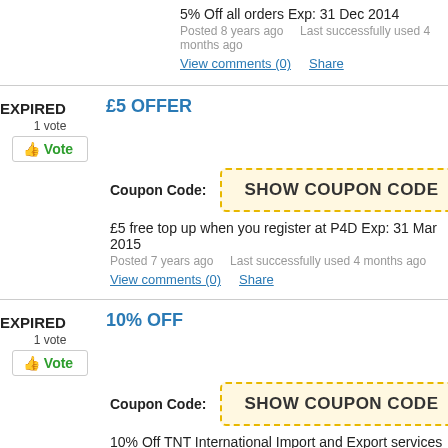5% Off all orders Exp: 31 Dec 2014
Posted 8 years ago    Last successfully used 4 months ago
View comments (0)   Share
EXPIRED   £5 OFFER
1 vote
Vote
Coupon Code:   SHOW COUPON CODE
£5 free top up when you register at P4D Exp: 31 Mar 2015
Posted 7 years ago    Last successfully used 4 months ago
View comments (0)   Share
EXPIRED   10% OFF
1 vote
Vote
Coupon Code:   SHOW COUPON CODE
10% Off TNT International Import and Export services Worldwide Exp: 31 Mar 2015
Posted 7 years ago    Last successfully used 4 months ago
View comments (0)   Share